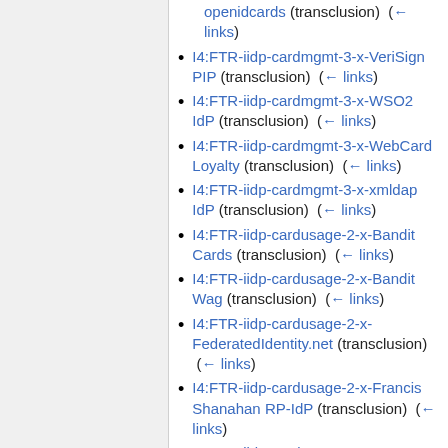openidcards (transclusion) (← links)
I4:FTR-iidp-cardmgmt-3-x-VeriSign PIP (transclusion) (← links)
I4:FTR-iidp-cardmgmt-3-x-WSO2 IdP (transclusion) (← links)
I4:FTR-iidp-cardmgmt-3-x-WebCard Loyalty (transclusion) (← links)
I4:FTR-iidp-cardmgmt-3-x-xmldap IdP (transclusion) (← links)
I4:FTR-iidp-cardusage-2-x-Bandit Cards (transclusion) (← links)
I4:FTR-iidp-cardusage-2-x-Bandit Wag (transclusion) (← links)
I4:FTR-iidp-cardusage-2-x-FederatedIdentity.net (transclusion) (← links)
I4:FTR-iidp-cardusage-2-x-Francis Shanahan RP-IdP (transclusion) (← links)
I4:FTR-iidp-cardusage-2-x-EuGen...